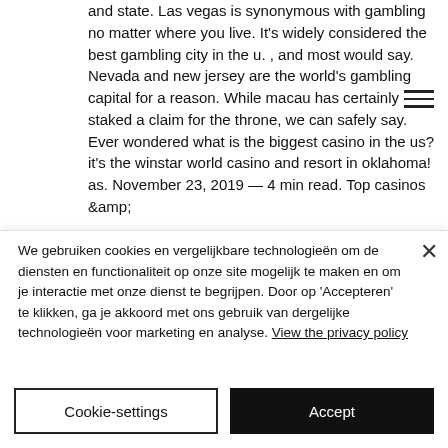and state. Las vegas is synonymous with gambling no matter where you live. It's widely considered the best gambling city in the u. , and most would say. Nevada and new jersey are the world's gambling capital for a reason. While macau has certainly staked a claim for the throne, we can safely say. Ever wondered what is the biggest casino in the us? it's the winstar world casino and resort in oklahoma! as. November 23, 2019 — 4 min read. Top casinos &amp;
We gebruiken cookies en vergelijkbare technologieën om de diensten en functionaliteit op onze site mogelijk te maken en om je interactie met onze dienst te begrijpen. Door op 'Accepteren' te klikken, ga je akkoord met ons gebruik van dergelijke technologieën voor marketing en analyse. View the privacy policy
Cookie-settings
Accept